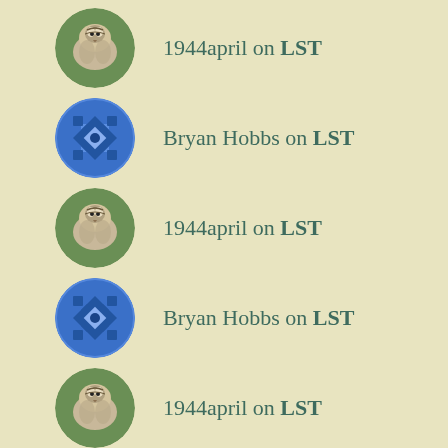1944april on LST
Bryan Hobbs on LST
1944april on LST
Bryan Hobbs on LST
1944april on LST
ARCHIVES
August 2022